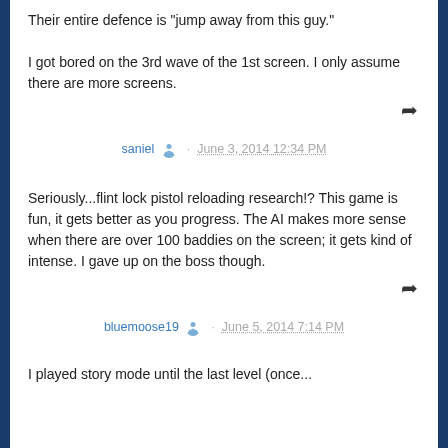Their entire defence is "jump away from this guy." I got bored on the 3rd wave of the 1st screen. I only assume there are more screens.
saniel · June 3, 2014 12:34 PM
Seriously...flint lock pistol reloading research!? This game is fun, it gets better as you progress. The AI makes more sense when there are over 100 baddies on the screen; it gets kind of intense. I gave up on the boss though.
bluemoose19 · June 5, 2014 7:14 PM
I played story mode until the last level (once...